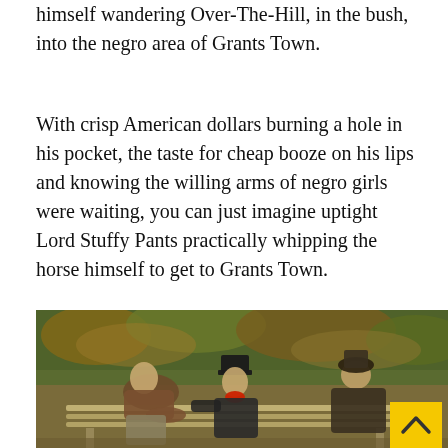himself wandering Over-The-Hill, in the bush, into the negro area of Grants Town.
With crisp American dollars burning a hole in his pocket, the taste for cheap booze on his lips and knowing the willing arms of negro girls were waiting, you can just imagine uptight Lord Stuffy Pants practically whipping the horse himself to get to Grants Town.
[Figure (photo): Painting of three men sitting on a park bench, one slumped over sleeping, one in a top hat with a red bow tie gesturing, and one turned away, with foliage in the background. A yellow scroll-to-top button is overlaid in the bottom right corner.]